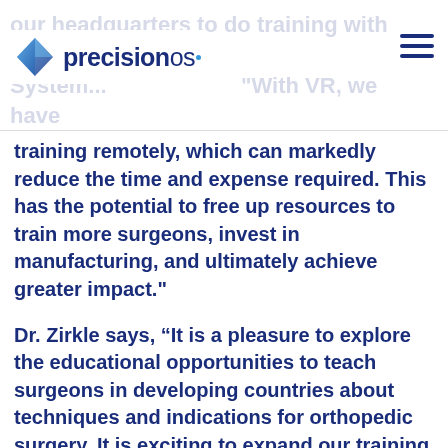our headquarters to do training with the SIGN System... precisionos "With VR, we have the opportunity to provide high-quality
training remotely, which can markedly reduce the time and expense required. This has the potential to free up resources to train more surgeons, invest in manufacturing, and ultimately achieve greater impact."
Dr. Zirkle says, “It is a pleasure to explore the educational opportunities to teach surgeons in developing countries about techniques and indications for orthopedic surgery. It is exciting to expand our training capabilities, and we want to thank PrecisionOS for the donation of the Oculus Quest based training solution.”